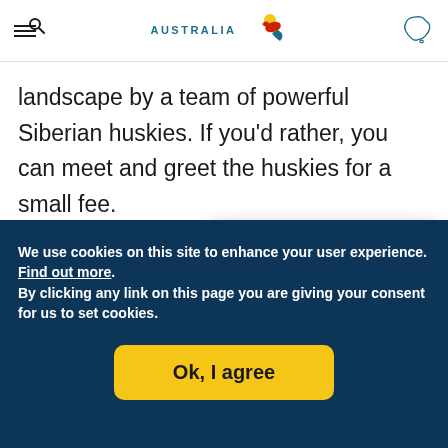[Figure (logo): Tourism Australia logo with kangaroo/bird graphic and text AUSTRALIA, plus hamburger+search and Australia map outline icons in header]
landscape by a team of powerful Siberian huskies. If you'd rather, you can meet and greet the huskies for a small fee.
Take things to the next l...
Chat Mate
G'day mate! 🦘 Looking to learn
We use cookies on this site to enhance your user experience. Find out more.
By clicking any link on this page you are giving your consent for us to set cookies.
Ok, I agree